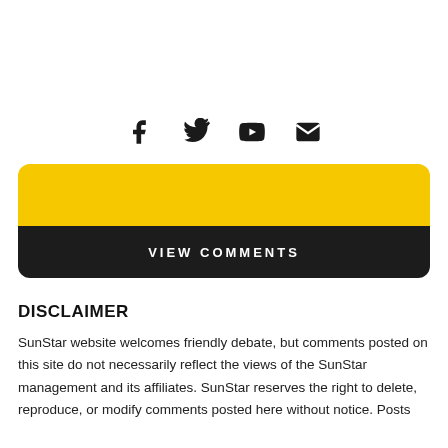[Figure (other): Social media icons: Facebook, Twitter, YouTube, Email]
[Figure (other): Yellow and black VIEW COMMENTS button with rounded corners]
DISCLAIMER
SunStar website welcomes friendly debate, but comments posted on this site do not necessarily reflect the views of the SunStar management and its affiliates. SunStar reserves the right to delete, reproduce, or modify comments posted here without notice. Posts